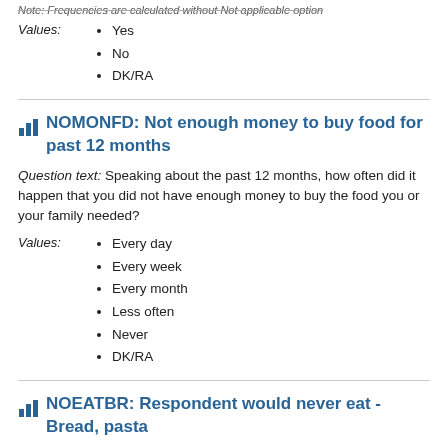Note: Frequencies are calculated without Not applicable option
Values:
Yes
No
DK/RA
NOMONFD: Not enough money to buy food for past 12 months
Question text: Speaking about the past 12 months, how often did it happen that you did not have enough money to buy the food you or your family needed?
Values:
Every day
Every week
Every month
Less often
Never
DK/RA
NOEATBR: Respondent would never eat - Bread, pasta